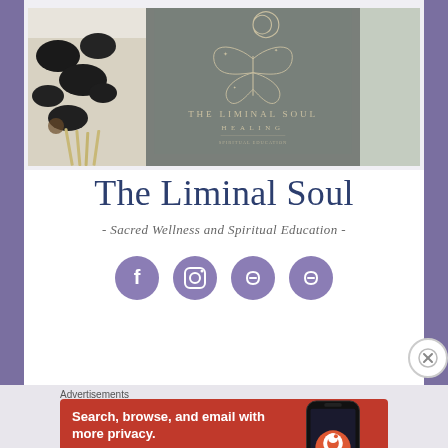[Figure (illustration): Banner image for The Liminal Soul Healing. Left third shows black massage stones and white flowers on beige background. Center shows grey-green background with a moth/butterfly logo illustration with moon crescent above, text 'THE LIMINAL SOUL' and 'HEALING' in golden/beige lettering. Right section is light sage green.]
The Liminal Soul
- Sacred Wellness and Spiritual Education -
[Figure (infographic): Row of four purple circular social media icon buttons: Facebook, Instagram, and two chain/link icons]
Advertisements
[Figure (screenshot): DuckDuckGo advertisement banner with orange/red background. Text: 'Search, browse, and email with more privacy. All in One Free App' with image of a smartphone showing DuckDuckGo app and DuckDuckGo logo.]